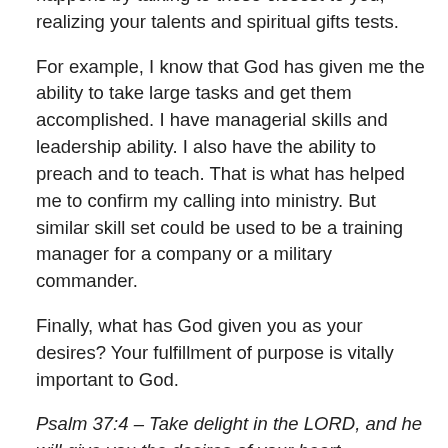happens by talking to those closest to you, realizing your talents and spiritual gifts tests.
For example, I know that God has given me the ability to take large tasks and get them accomplished. I have managerial skills and leadership ability. I also have the ability to preach and to teach. That is what has helped me to confirm my calling into ministry. But similar skill set could be used to be a training manager for a company or a military commander.
Finally, what has God given you as your desires? Your fulfillment of purpose is vitally important to God.
Psalm 37:4 – Take delight in the LORD, and he will give you the desires of your heart.
Matthew 5:6 – Blessed are those who hunger and thirst for